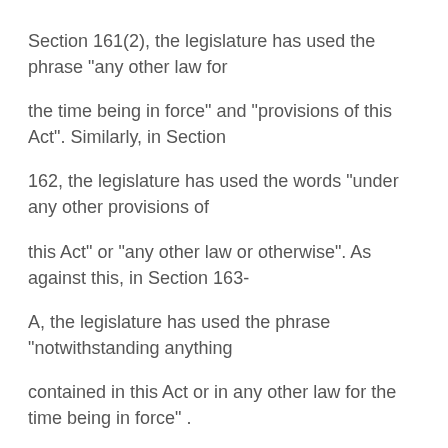Section 161(2), the legislature has used the phrase "any other law for
the time being in force" and "provisions of this Act". Similarly, in Section
162, the legislature has used the words "under any other provisions of
this Act" or "any other law or otherwise". As against this, in Section 163-
A, the legislature has used the phrase "notwithstanding anything
contained in this Act or in any other law for the time being in force" .
When the legislature has taken care of using different phrases in